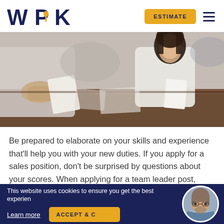WPK | ESTIMATE | navigation menu
[Figure (photo): Photo of a job interview scene: two people sitting across a desk, one handing a document to the other, both appear professional, blurred background office setting.]
Be prepared to elaborate on your skills and experience that'll help you with your new duties. If you apply for a sales position, don't be surprised by questions about your scores. When applying for a team leader post, expect to be asked to speak about a conflict that you resolved. If you apply...
This website uses cookies to ensure you get the best experience | Learn more | ACCEPT &